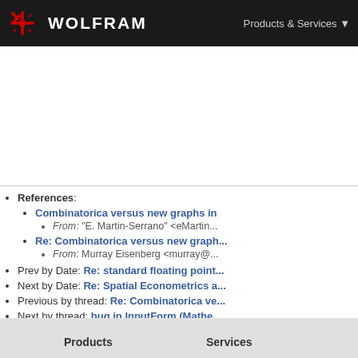WOLFRAM | Products & Services
References:
Combinatorica versus new graphs in...
From: "E. Martin-Serrano" <eMartin...
Re: Combinatorica versus new graph...
From: Murray Eisenberg <murray@...
Prev by Date: Re: standard floating point...
Next by Date: Re: Spatial Econometrics a...
Previous by thread: Re: Combinatorica ve...
Next by thread: bug in InputForm (Mathe...
Products    Services